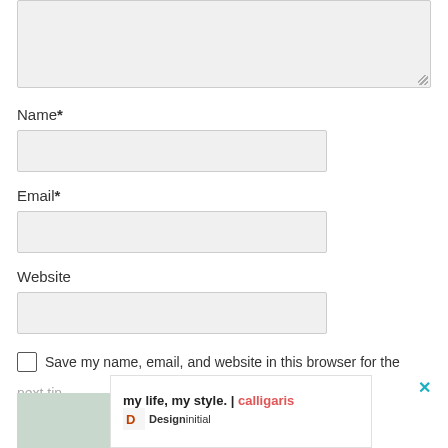[Figure (screenshot): Comment textarea input box with resize handle at bottom right]
Name*
[Figure (screenshot): Name input field (empty, light gray background)]
Email*
[Figure (screenshot): Email input field (empty, light gray background)]
Website
[Figure (screenshot): Website input field (empty, light gray background)]
Save my name, email, and website in this browser for the next tin
[Figure (screenshot): Advertisement banner: 'my life, my style. | calligaris' with Designinitial logo and close button]